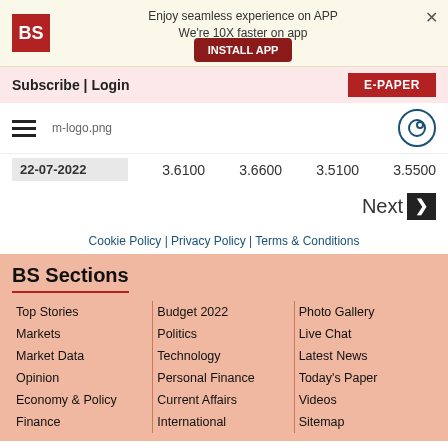Enjoy seamless experience on APP We're 10X faster on app
Subscribe | Login
E-PAPER
[Figure (logo): BS logo red square with white text, hamburger menu, m-logo.png, notification icon]
| Date | Col1 | Col2 | Col3 | Col4 |
| --- | --- | --- | --- | --- |
| 22-07-2022 | 3.6100 | 3.6600 | 3.5100 | 3.5500 |
Next ›
Cookie Policy | Privacy Policy | Terms & Conditions
BS Sections
Top Stories
Markets
Market Data
Opinion
Economy & Policy
Finance
Budget 2022
Politics
Technology
Personal Finance
Current Affairs
International
Photo Gallery
Live Chat
Latest News
Today's Paper
Videos
Sitemap